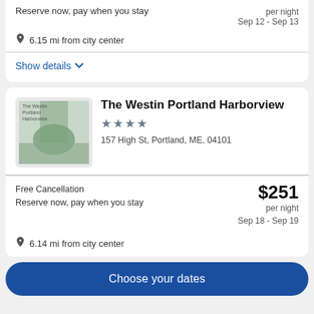Reserve now, pay when you stay
per night
Sep 12 - Sep 13
6.15 mi from city center
Show details
The Westin Portland Harborview
157 High St, Portland, ME, 04101
Free Cancellation
Reserve now, pay when you stay
$251 per night
Sep 18 - Sep 19
6.14 mi from city center
Choose your dates